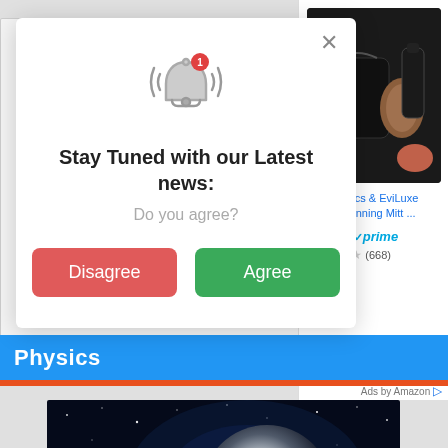[Figure (screenshot): Browser notification popup modal with bell icon, 'Stay Tuned with our Latest news:' title, 'Do you agree?' subtitle, and two buttons: red 'Disagree' and green 'Agree'. An Amazon ad panel on the right shows a tanning mitt product image, price $59.99 with Prime badge, 4.5 stars (668 reviews). Below is a blue Physics section banner followed by a space/physics image.]